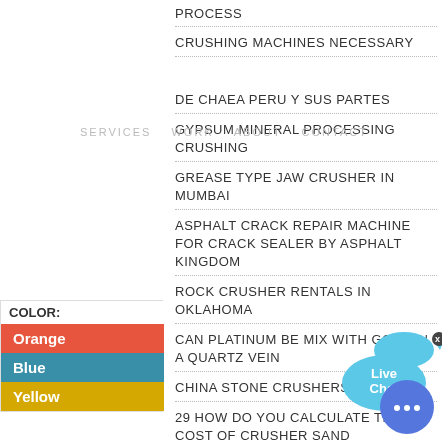PROCESS
CRUSHING MACHINES NECESSARY
SERVICES  WORK   ABOUT   CONTACT
DE CHAEA PERU Y SUS PARTES
GYPSUM MINERAL PROCESSING CRUSHING
GREASE TYPE JAW CRUSHER IN MUMBAI
ASPHALT CRACK REPAIR MACHINE FOR CRACK SEALER BY ASPHALT KINGDOM
ROCK CRUSHER RENTALS IN OKLAHOMA
CAN PLATINUM BE MIX WITH GOLD IN A QUARTZ VEIN
CHINA STONE CRUSHERS SALE
29 HOW DO YOU CALCULATE THE COST OF CRUSHER SAND
IMPACT MILL YEMEN FOR SALE
PORTABLE DOLOMITE JAW CRUSHER SUPPLIERS NIGERIA
| COLOR |  |
| --- | --- |
| Orange |  |
| Blue |  |
| Yellow |  |